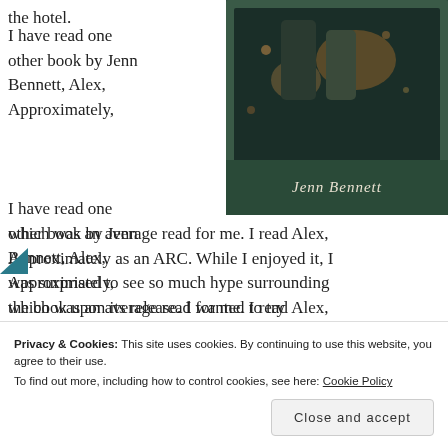the hotel.
[Figure (photo): Book cover showing a couple in a cafe setting with text 'Jenn Bennett' visible]
I have read one other book by Jenn Bennett, Alex, Approximately, which was an average read for me. I read Alex, Approximately as an ARC. While I enjoyed it, I was surprised to see so much hype surrounding the book upon its release. I wanted to try another book by this author to see if it lived up to the hype since I am a huge fan of
Privacy & Cookies: This site uses cookies. By continuing to use this website, you agree to their use.
To find out more, including how to control cookies, see here: Cookie Policy
Close and accept